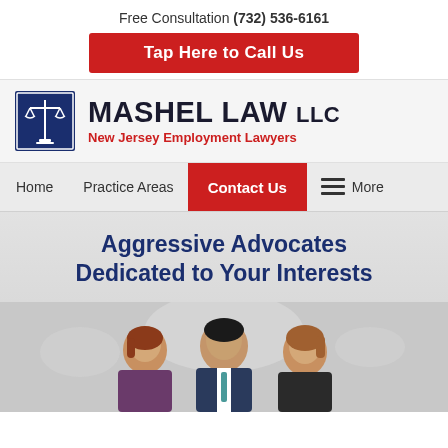Free Consultation (732) 536-6161
Tap Here to Call Us
[Figure (logo): Mashel Law LLC logo with scales of justice icon]
MASHEL LAW LLC — New Jersey Employment Lawyers
Home | Practice Areas | Contact Us | More
Aggressive Advocates Dedicated to Your Interests
[Figure (photo): Three attorneys (two women, one man in center) posing in a law office hallway]